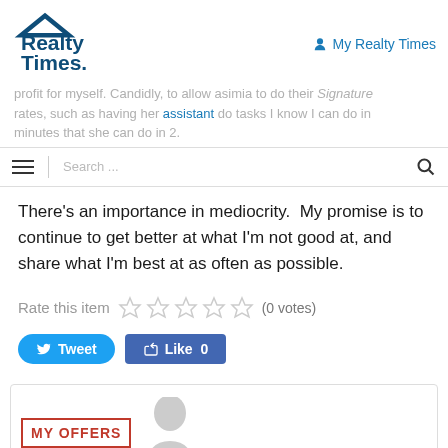Realty Times | My Realty Times
profit for myself. Candidly, to allow asimia to do their signature rates, such as having her assistant do tasks I know I can do in minutes that she can do in 2.
There's an importance in mediocrity.  My promise is to continue to get better at what I'm not good at, and share what I'm best at as often as possible.
Rate this item (0 votes)
Tweet   Like 0
[Figure (screenshot): MY OFFERS badge with a person partially visible at the bottom of the page]